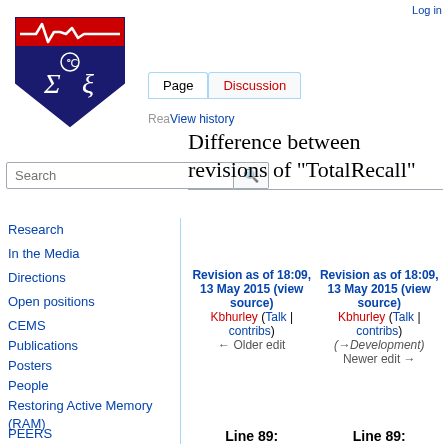Log in
[Figure (logo): University of Pennsylvania shield logo with red top bar (EKG line) and blue chevron with Sigma and Xi symbols]
Page | Discussion | View history
Difference between revisions of "TotalRecall"
Revision as of 18:09, 13 May 2015 (view source)
Kbhurley (Talk | contribs)
← Older edit
Revision as of 18:09, 13 May 2015 (view source)
Kbhurley (Talk | contribs)
(→Development)
Newer edit →
Line 89:
Line 89:
Research
In the Media
Directions
Open positions
CEMS
Publications
Posters
People
Restoring Active Memory (RAM)
PEERS
Oxford Handbook of Human Memory
Behavioral data archive
Cognitive...